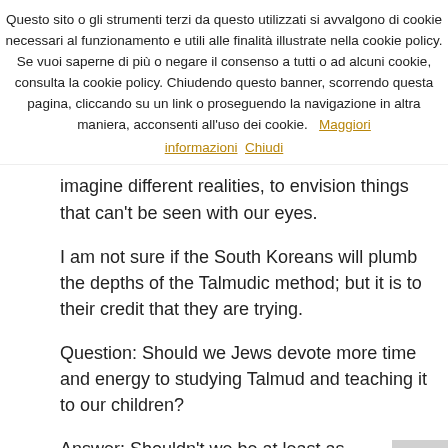Questo sito o gli strumenti terzi da questo utilizzati si avvalgono di cookie necessari al funzionamento e utili alle finalità illustrate nella cookie policy. Se vuoi saperne di più o negare il consenso a tutti o ad alcuni cookie, consulta la cookie policy. Chiudendo questo banner, scorrendo questa pagina, cliccando su un link o proseguendo la navigazione in altra maniera, acconsenti all'uso dei cookie.   Maggiori informazioni  Chiudi
imagine different realities, to envision things that can't be seen with our eyes.
I am not sure if the South Koreans will plumb the depths of the Talmudic method; but it is to their credit that they are trying.
Question: Should we Jews devote more time and energy to studying Talmud and teaching it to our children?
Answer: Shouldn't we be at least as interested in Talmud as the South Koreans?